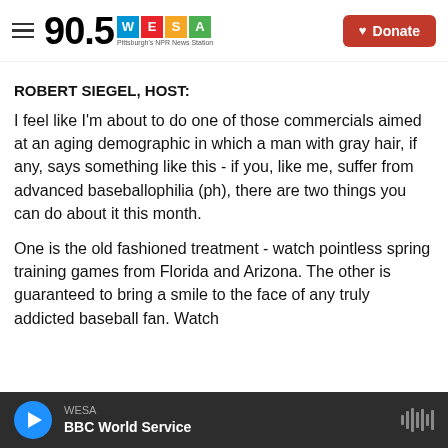90.5 WESA Pittsburgh's NPR News Station | Donate
ROBERT SIEGEL, HOST:
I feel like I'm about to do one of those commercials aimed at an aging demographic in which a man with gray hair, if any, says something like this - if you, like me, suffer from advanced baseballophilia (ph), there are two things you can do about it this month.
One is the old fashioned treatment - watch pointless spring training games from Florida and Arizona. The other is guaranteed to bring a smile to the face of any truly addicted baseball fan. Watch
WESA | BBC World Service